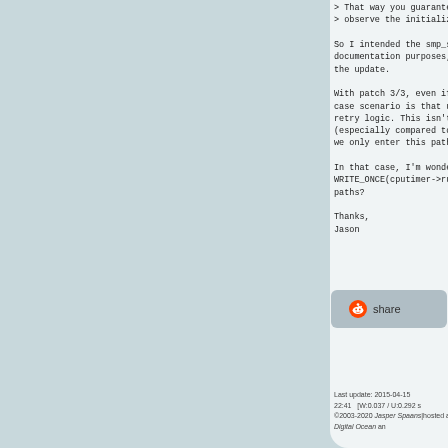> That way you guarantee that everything observe the initialized state.

So I intended the smp_store_release() documentation purposes, to say that the update.

With patch 3/3, even if running happens case scenario is that update_gt_cputimer retry logic. This isn't much of a performance (especially compared to adding smp_l we only enter this path when we need

In that case, I'm wondering if should WRITE_ONCE(cputimer->running, 1) and paths?

Thanks,
Jason
[Figure (other): Share button with Reddit icon]
Last update: 2015-04-15 22:41    [W:0.037 / U:0.292 s]
©2003-2020 Jasper Spaans|hosted at Digital Ocean an